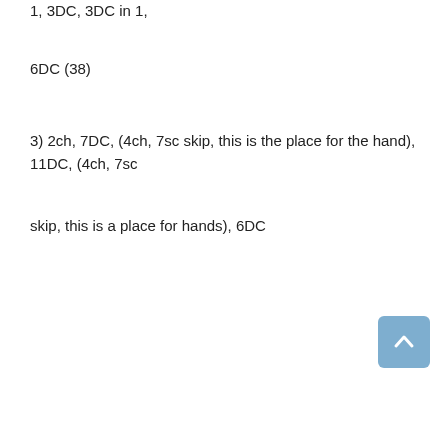2) 3ch, 3DC, 3DC in 1, 3DC, 3DC in 1, 3DC, 3DC in 1, 3DC, 3DC in 1,
6DC (38)
3) 2ch, 7DC, (4ch, 7sc skip, this is the place for the hand), 11DC, (4ch, 7sc
skip, this is a place for hands), 6DC